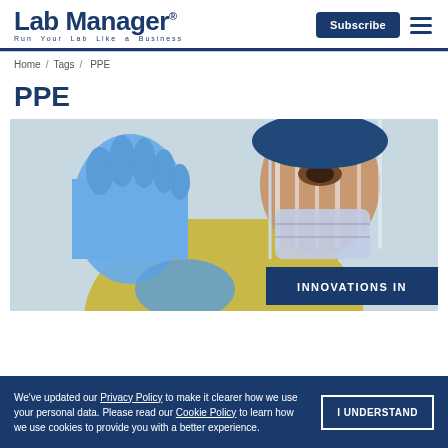Lab Manager — Run Your Lab Like a Business — Subscribe
Home / Tags / PPE
PPE
[Figure (photo): Healthcare worker wearing blue nitrile gloves, face shield, surgical mask, and yellow protective gown. Overlay badge reads 'INNOVATIONS IN'.]
We've updated our Privacy Policy to make it clearer how we use your personal data. Please read our Cookie Policy to learn how we use cookies to provide you with a better experience.